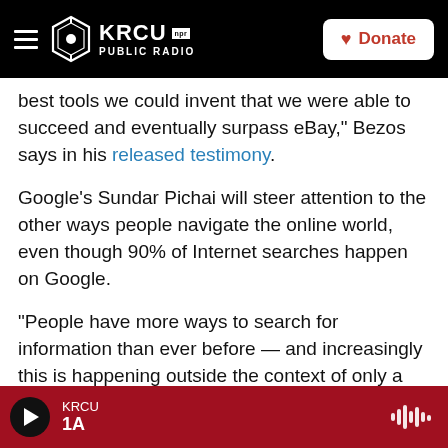KRCU NPR PUBLIC RADIO | Donate
best tools we could invent that we were able to succeed and eventually surpass eBay," Bezos says in his released testimony.
Google's Sundar Pichai will steer attention to the other ways people navigate the online world, even though 90% of Internet searches happen on Google.
"People have more ways to search for information than ever before — and increasingly this is happening outside the context of only a search engine," Pichai plans to tell the House panel. "You
KRCU 1A